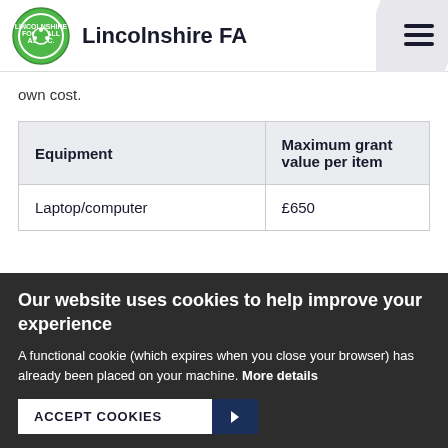Lincolnshire FA
own cost.
| Equipment | Maximum grant value per item |
| --- | --- |
| Laptop/computer | £650 |
Our website uses cookies to help improve your experience
A functional cookie (which expires when you close your browser) has already been placed on your machine. More details
ACCEPT COOKIES